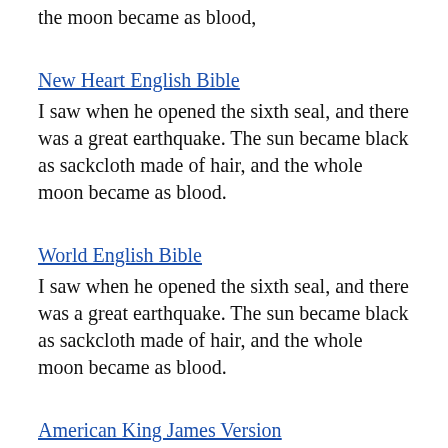the moon became as blood,
New Heart English Bible
I saw when he opened the sixth seal, and there was a great earthquake. The sun became black as sackcloth made of hair, and the whole moon became as blood.
World English Bible
I saw when he opened the sixth seal, and there was a great earthquake. The sun became black as sackcloth made of hair, and the whole moon became as blood.
American King James Version
And I beheld when he had opened the sixth seal, and, see, there was a great earthquake;